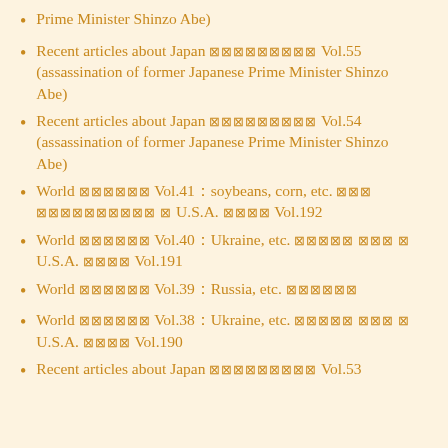Prime Minister Shinzo Abe)
Recent articles about Japan ■■■■■■■■■ Vol.55 (assassination of former Japanese Prime Minister Shinzo Abe)
Recent articles about Japan ■■■■■■■■■ Vol.54 (assassination of former Japanese Prime Minister Shinzo Abe)
World ■■■■■■ Vol.41：soybeans, corn, etc. ■■■ ■■■■■■■■■■ ■ U.S.A. ■■■■ Vol.192
World ■■■■■■ Vol.40：Ukraine, etc. ■■■■■ ■■■ ■ U.S.A. ■■■■ Vol.191
World ■■■■■■ Vol.39：Russia, etc. ■■■■■■
World ■■■■■■ Vol.38：Ukraine, etc. ■■■■■ ■■■ ■ U.S.A. ■■■■ Vol.190
Recent articles about Japan ■■■■■■■■■ Vol.53